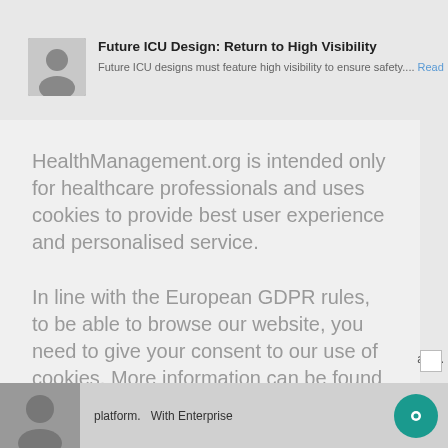[Figure (photo): Small thumbnail photo of a person (greyscale headshot)]
Future ICU Design: Return to High Visibility
Future ICU designs must feature high visibility to ensure safety.... Read
HealthManagement.org is intended only for healthcare professionals and uses cookies to provide best user experience and personalised service.
In line with the European GDPR rules, to be able to browse our website, you need to give your consent to our use of cookies. More information can be found in our Cookie Policy.
I am a healthcare professional and consent to the use of cookies
ate...
platform.   With Enterprise